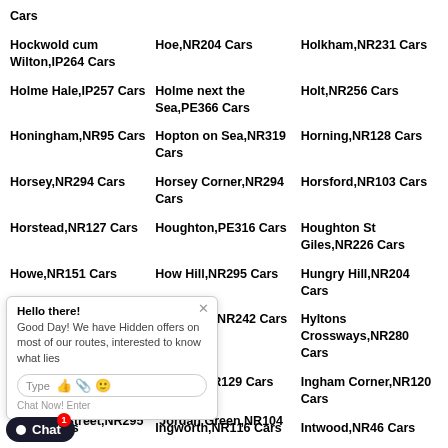Cars
Hockwold cum Wilton,IP264 Cars
Hoe,NR204 Cars
Holkham,NR231 Cars
Holme Hale,IP257 Cars
Holme next the Sea,PE366 Cars
Holt,NR256 Cars
Honingham,NR95 Cars
Hopton on Sea,NR319 Cars
Horning,NR128 Cars
Horsey,NR294 Cars
Horsey Corner,NR294 Cars
Horsford,NR103 Cars
Horstead,NR127 Cars
Houghton,PE316 Cars
Houghton St Giles,NR226 Cars
Howe,NR151 Cars
How Hill,NR295 Cars
Hungry Hill,NR204 Cars
Hunts Cars
Hunworth,NR242 Cars
Hyltons Crossways,NR280 Cars
Illington Cars
Ingham,NR129 Cars
Ingham Corner,NR120 Cars
Ingold Cars
Ingworth,NR116 Cars
Intwood,NR46 Cars
Irstead Street,NR128 Cars
Itteringham,NR117 Cars
Itteringham Common,NR117 Cars
Johnson Street,NR295 Cars
Jordan Green,NR104 Cars